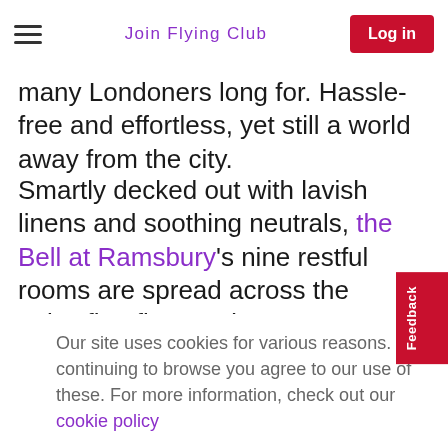Join Flying Club   Log in
many Londoners long for. Hassle-free and effortless, yet still a world away from the city.
Smartly decked out with lavish linens and soothing neutrals, the Bell at Ramsbury's nine restful rooms are spread across the pub's first floor and a separate coach house annex. All are good size, but the annex's Pike Suite is particularly capacious: oversized bed, a gnarly old beam-framed vanity counter, plus a luxury a
Our site uses cookies for various reasons. By continuing to browse you agree to our use of these. For more information, check out our cookie policy